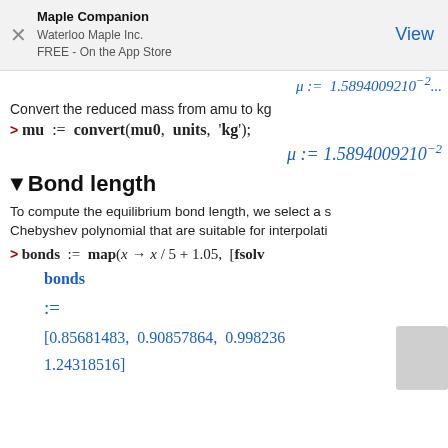Maple Companion
Waterloo Maple Inc.
FREE - On the App Store
View
Convert the reduced mass from amu to kg
▾Bond length
To compute the equilibrium bond length, we select a s... Chebyshev polynomial that are suitable for interpolati...